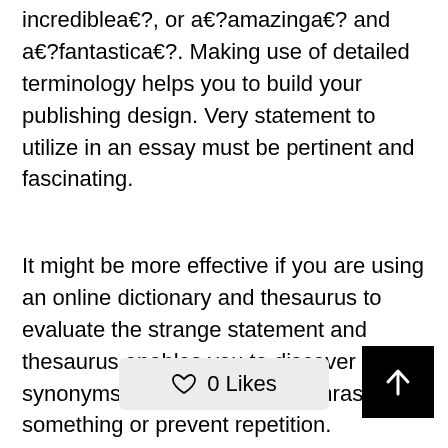incrediblea€?, or a€?amazinga€? and a€?fantastica€?. Making use of detailed terminology helps you to build your publishing design. Very statement to utilize in an essay must be pertinent and fascinating.
It might be more effective if you are using an online dictionary and thesaurus to evaluate the strange statement and thesaurus enables you to discover synonyms if you would like rephrase something or prevent repetition.